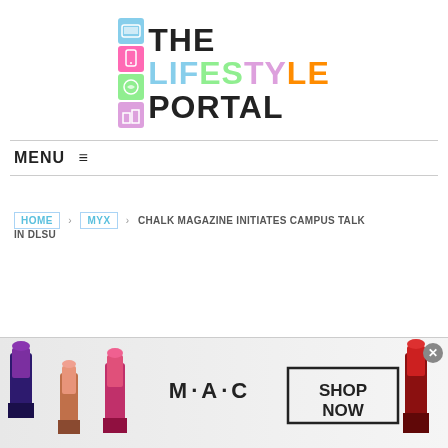[Figure (logo): The Lifestyle Portal logo with colored icon grid on left and bold text on right. LIFE in light blue, ST in green, YLE in orange/pink, PORTAL in black.]
MENU ≡
HOME > MYX > CHALK MAGAZINE INITIATES CAMPUS TALK IN DLSU
[Figure (photo): M·A·C cosmetics advertisement banner showing lipsticks in purple, pink, and red with SHOP NOW button]